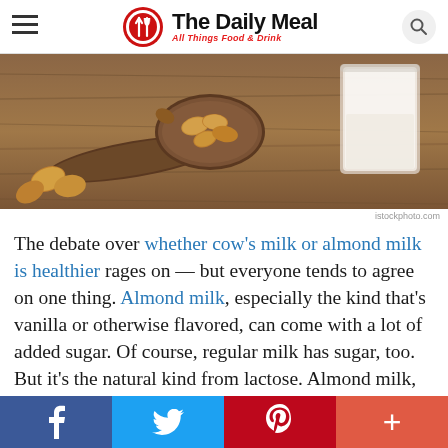The Daily Meal — All Things Food & Drink
[Figure (photo): Almonds on a wooden spoon next to a glass of almond milk on a wooden table surface]
istockphoto.com
The debate over whether cow's milk or almond milk is healthier rages on — but everyone tends to agree on one thing. Almond milk, especially the kind that's vanilla or otherwise flavored, can come with a lot of added sugar. Of course, regular milk has sugar, too. But it's the natural kind from lactose. Almond milk, on the other hand, is sweetened during processing. A cup of vanilla almond milk can have around 13
Facebook | Twitter | Pinterest | More